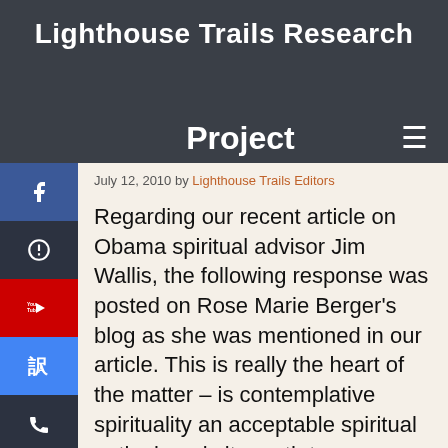Lighthouse Trails Research
Project
July 12, 2010 by Lighthouse Trails Editors
Regarding our recent article on Obama spiritual advisor Jim Wallis, the following response was posted on Rose Marie Berger’s blog as she was mentioned in our article. This is really the heart of the matter – is contemplative spirituality an acceptable spiritual outlook, or is it a path to a panentheistic, interspiritual New Age/New Spirituality… [Read